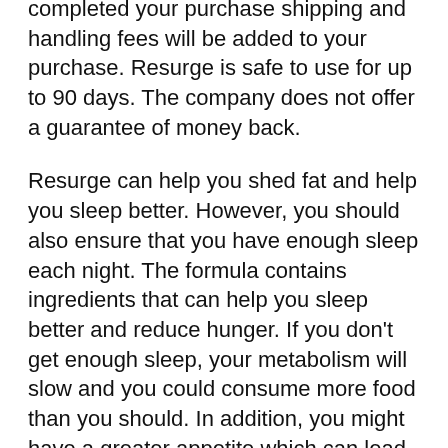completed your purchase shipping and handling fees will be added to your purchase. Resurge is safe to use for up to 90 days. The company does not offer a guarantee of money back.
Resurge can help you shed fat and help you sleep better. However, you should also ensure that you have enough sleep each night. The formula contains ingredients that can help you sleep better and reduce hunger. If you don't get enough sleep, your metabolism will slow and you could consume more food than you should. In addition, you might have a greater appetite which can lead to weight gain. To increase your energy levels, you should not miss a night of sleep.